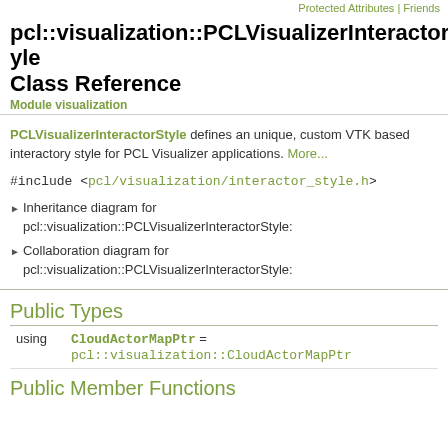Protected Attributes | Friends
pcl::visualization::PCLVisualizerInteractorStyle Class Reference
Module visualization
PCLVisualizerInteractorStyle defines an unique, custom VTK based interactory style for PCL Visualizer applications. More...
#include <pcl/visualization/interactor_style.h>
Inheritance diagram for pcl::visualization::PCLVisualizerInteractorStyle:
Collaboration diagram for pcl::visualization::PCLVisualizerInteractorStyle:
Public Types
|  | Name | = | Value |
| --- | --- | --- | --- |
| using | CloudActorMapPtr | = | pcl::visualization::CloudActorMapPtr |
Public Member Functions